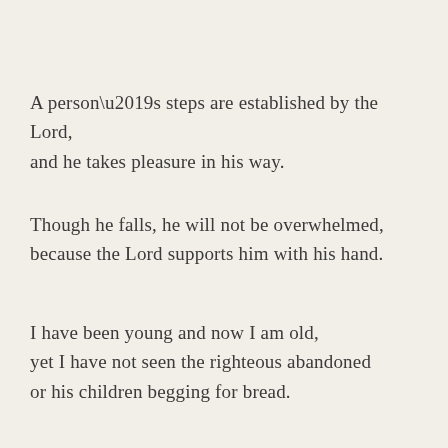A person’s steps are established by the Lord, and he takes pleasure in his way.
Though he falls, he will not be overwhelmed, because the Lord supports him with his hand.
I have been young and now I am old, yet I have not seen the righteous abandoned or his children begging for bread.